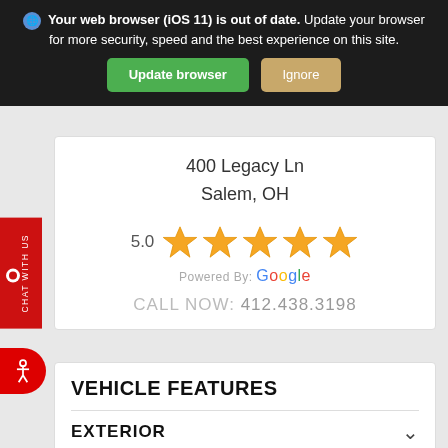Your web browser (iOS 11) is out of date. Update your browser for more security, speed and the best experience on this site.
Update browser   Ignore
400 Legacy Ln
Salem, OH
[Figure (other): 5.0 star rating with 5 gold stars, Powered By: Google]
CALL NOW: 412.438.3198
VEHICLE FEATURES
EXTERIOR